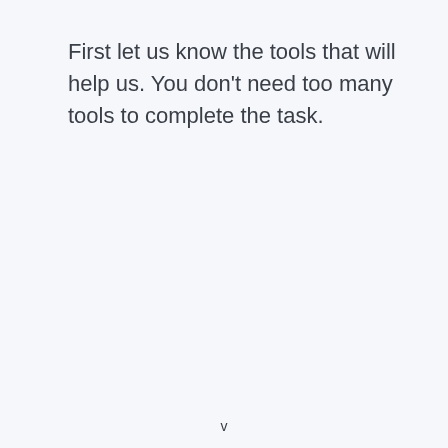First let us know the tools that will help us. You don't need too many tools to complete the task.
v